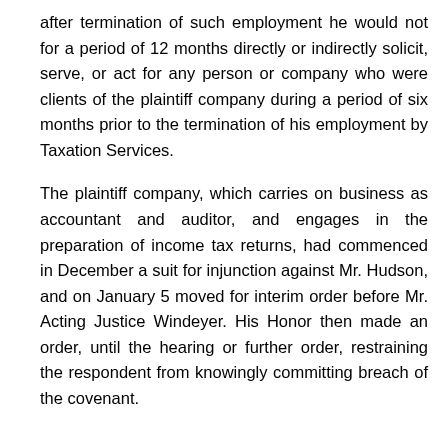after termination of such employment he would not for a period of 12 months directly or indirectly solicit, serve, or act for any person or company who were clients of the plaintiff company during a period of six months prior to the termination of his employment by Taxation Services.
The plaintiff company, which carries on business as accountant and auditor, and engages in the preparation of income tax returns, had commenced in December a suit for injunction against Mr. Hudson, and on January 5 moved for interim order before Mr. Acting Justice Windeyer. His Honor then made an order, until the hearing or further order, restraining the respondent from knowingly committing breach of the covenant.